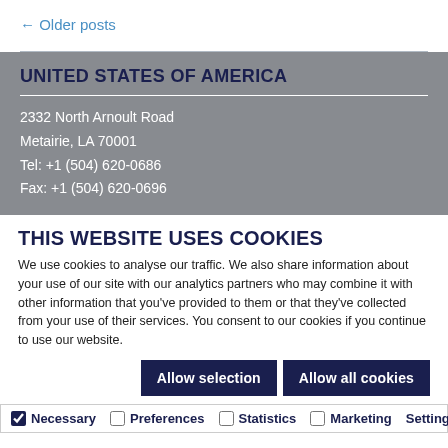← Older posts
UNITED STATES OF AMERICA
2332 North Arnoult Road
Metairie, LA 70001
Tel: +1 (504) 620-0686
Fax: +1 (504) 620-0696
THIS WEBSITE USES COOKIES
We use cookies to analyse our traffic. We also share information about your use of our site with our analytics partners who may combine it with other information that you've provided to them or that they've collected from your use of their services. You consent to our cookies if you continue to use our website.
Allow selection | Allow all cookies
Necessary  Preferences  Statistics  Marketing  Settings